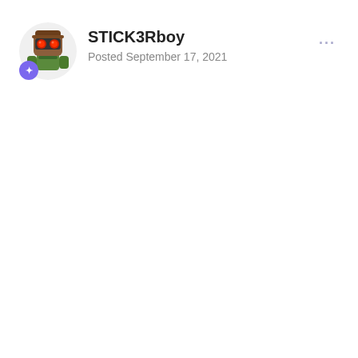[Figure (illustration): Avatar image of a cartoon robot/character figure with goggles, wearing an outfit, with a small badge icon in the bottom-left corner of the avatar area.]
STICK3Rboy
Posted September 17, 2021